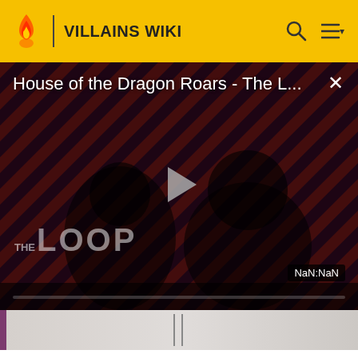VILLAINS WIKI
[Figure (screenshot): Video player showing 'House of the Dragon Roars - The L...' with a diagonal stripe background, two silhouetted figures, a play button, THE LOOP branding, and NaN:NaN timestamp]
Hi. This is Thesecret1070. I am an admin of this site. Edit as much as you wish, but one little thing... If you are going to edit a lot, then make yourself a user and login. Other than that, enjoy Villains Wiki!!!